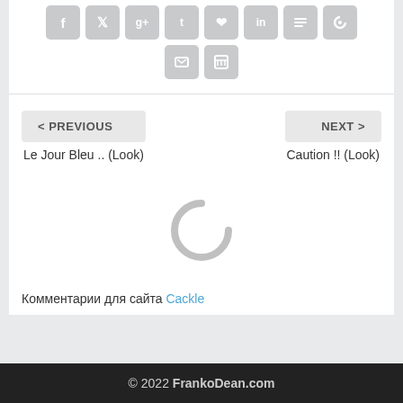[Figure (other): Social media share icons row: Facebook, Twitter, Google+, Tumblr, Pinterest, LinkedIn, Buffer, StumbleUpon; second row: Email, Print]
< PREVIOUS
Le Jour Bleu .. (Look)
NEXT >
Caution !! (Look)
[Figure (other): Loading spinner graphic (partial circle arc, grey)]
Комментарии для сайта Cackle
© 2022 FrankoDean.com